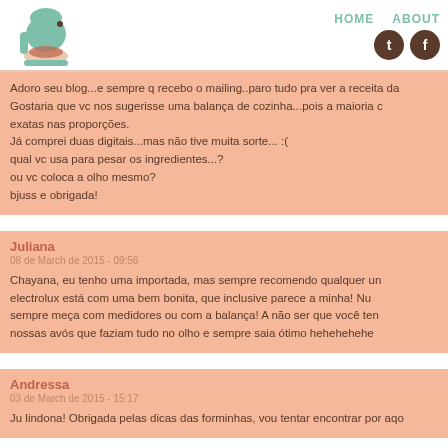HOME   ABOUT
Adoro seu blog...e sempre q recebo o mailing..paro tudo pra ver a receita da Gostaria que vc nos sugerisse uma balança de cozinha...pois a maioria c exatas nas proporções.
Já comprei duas digitais...mas não tive muita sorte... :(
qual vc usa para pesar os ingredientes...?
ou vc coloca a olho mesmo?
bjuss e obrigada!
Juliana
08 de March de 2015 - 09:56
Chayana, eu tenho uma importada, mas sempre recomendo qualquer um electrolux está com uma bem bonita, que inclusive parece a minha! Nu sempre meça com medidores ou com a balança! A não ser que você ten nossas avós que faziam tudo no olho e sempre saia ótimo hehehehehe
Andressa
03 de March de 2015 - 15:17
Ju lindona! Obrigada pelas dicas das forminhas, vou tentar encontrar por aqo